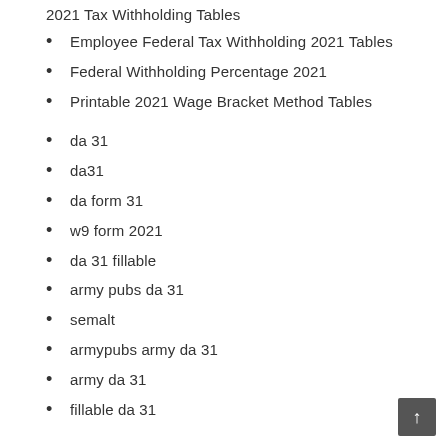2021 Tax Withholding Tables
Employee Federal Tax Withholding 2021 Tables
Federal Withholding Percentage 2021
Printable 2021 Wage Bracket Method Tables
da 31
da31
da form 31
w9 form 2021
da 31 fillable
army pubs da 31
semalt
armypubs army da 31
army da 31
fillable da 31